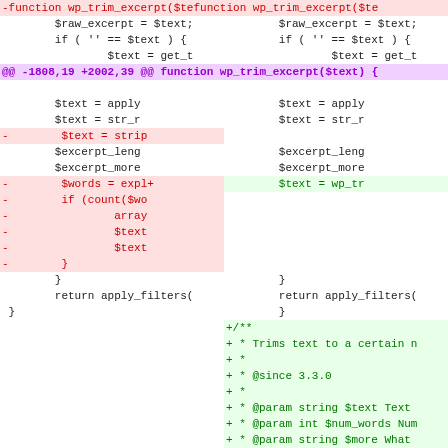[Figure (screenshot): A unified diff view showing two columns of PHP code. Left column shows old code, right column shows new code. Red highlighted lines show removed code, green lines show added code. The diff is for the wp_trim_excerpt function in WordPress, showing changes at lines -1808,19 +2002,39. The right column gains a new function wp_trim_words with a PHPDoc comment block explaining it trims text to a certain number of words, with @since 3.3.0, @param string $text, @param int $num_words, @param string $more, @return string parameters.]